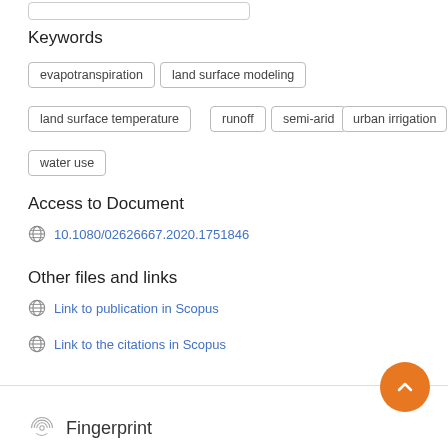Keywords
evapotranspiration
land surface modeling
land surface temperature
runoff
semi-arid
urban irrigation
water use
Access to Document
10.1080/02626667.2020.1751846
Other files and links
Link to publication in Scopus
Link to the citations in Scopus
Fingerprint